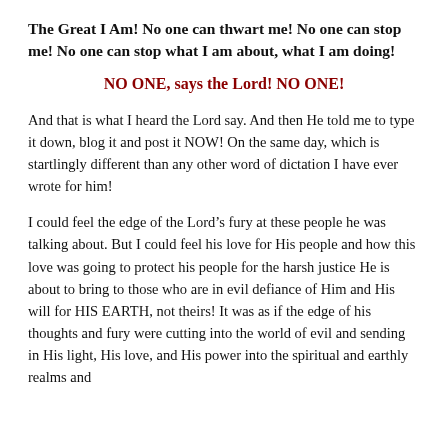The Great I Am! No one can thwart me! No one can stop me! No one can stop what I am about, what I am doing!
NO ONE, says the Lord! NO ONE!
And that is what I heard the Lord say. And then He told me to type it down, blog it and post it NOW! On the same day, which is startlingly different than any other word of dictation I have ever wrote for him!
I could feel the edge of the Lord’s fury at these people he was talking about. But I could feel his love for His people and how this love was going to protect his people for the harsh justice He is about to bring to those who are in evil defiance of Him and His will for HIS EARTH, not theirs! It was as if the edge of his thoughts and fury were cutting into the world of evil and sending in His light, His love, and His power into the spiritual and earthly realms and